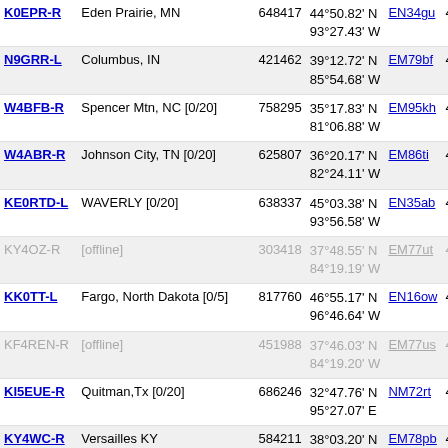| Callsign | Location | Node | Coordinates | Grid | Dist | Freq |
| --- | --- | --- | --- | --- | --- | --- |
| K0EPR-R | Eden Prairie, MN | 648417 | 44°50.82' N 93°27.43' W | EN34gu | 4389.0 | 146.8 |
| N9GRR-L | Columbus, IN | 421462 | 39°12.72' N 85°54.68' W | EM79bf | 4389.7 | 147.5 |
| W4BFB-R | Spencer Mtn, NC [0/20] | 758295 | 35°17.83' N 81°06.88' W | EM95kh | 4390.0 |  |
| W4ABR-R | Johnson City, TN [0/20] | 625807 | 36°20.17' N 82°24.11' W | EM86ti | 4391.5 |  |
| KE0RTD-L | WAVERLY [0/20] | 638337 | 45°03.38' N 93°56.58' W | EN35ab | 4395.3 |  |
| KY4OZ-R [offline] | [offline] | 303418 | 37°48.55' N 84°19.19' W | EM77ut | 4396.0 | 145.3 |
| KK0TT-L | Fargo, North Dakota [0/5] | 817760 | 46°55.17' N 96°46.64' W | EN16ow | 4397.2 |  |
| KF4REN-R [offline] | [offline] | 451988 | 37°46.03' N 84°19.20' W | EM77us | 4398.1 | 146.8 |
| KI5EUE-R | Quitman,Tx [0/20] | 686246 | 32°47.76' N 95°27.07' E | NM72rt | 4398.2 |  |
| KY4WC-R | Versailles KY | 584211 | 38°03.20' N 84°42.93' W | EM78pb | 4399.7 | 145.3 |
| KC9MCC-R | Beetown Wi | 930729 | 42°47.90' N 90°53.63' W | EN42nt | 4399.8 | 146.8 |
| NI4JM-L | Clover, SC [0/5] | 48875 | 35°06.29' N 81°09.71' W | EM95kc | 4401.1 |  |
| W4FTK-R | W4FTK Linked System [0/10] | 367365 | 34°54.59' N 81°00.12' W | EM94lv | 4404.1 | 443.8 |
| KC0CV-L | Royalville MN | 618457 | 45°33.83' N | EN35ei | 4405.1 |  |